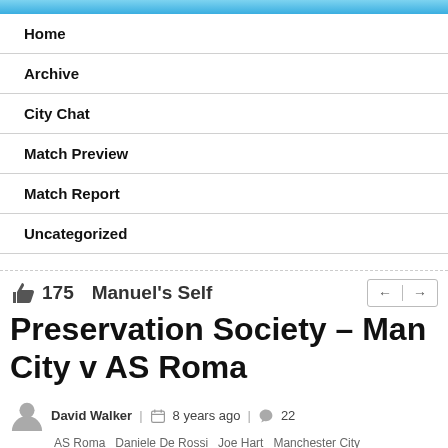Home
Archive
City Chat
Match Preview
Match Report
Uncategorized
Manuel's Self Preservation Society – Man City v AS Roma
David Walker  |  8 years ago  |  22
AS Roma  Daniele De Rossi  Joe Hart  Manchester City